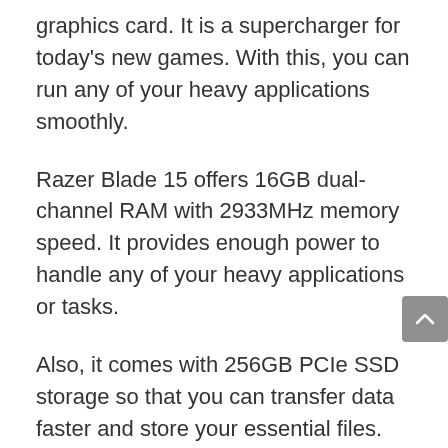graphics card. It is a supercharger for today's new games. With this, you can run any of your heavy applications smoothly.
Razer Blade 15 offers 16GB dual-channel RAM with 2933MHz memory speed. It provides enough power to handle any of your heavy applications or tasks.
Also, it comes with 256GB PCIe SSD storage so that you can transfer data faster and store your essential files.
Generally, gaming laptops do not provide much battery backup, but this Razer blade 15 gives you up to 6 hours of battery life during mixed-use.
Display and Design